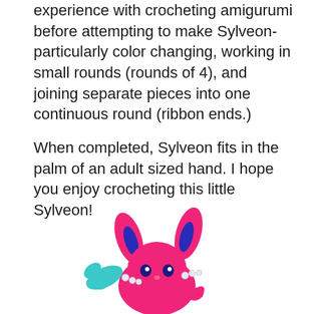experience with crocheting amigurumi before attempting to make Sylveon- particularly color changing, working in small rounds (rounds of 4), and joining separate pieces into one continuous round (ribbon ends.)
When completed, Sylveon fits in the palm of an adult sized hand. I hope you enjoy crocheting this little Sylveon!
[Figure (photo): A crocheted amigurumi Sylveon (Pokemon) figure in bright pink yarn with dark blue ear accents, teal/blue ribbon ends, and white pearl-like beads, photographed from above against a white background.]